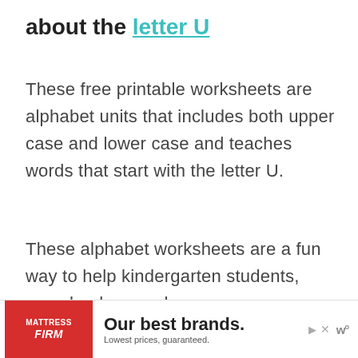about the letter U
These free printable worksheets are alphabet units that includes both upper case and lower case and teaches words that start with the letter U.
These alphabet worksheets are a fun way to help kindergarten students, preschoolers, and even younger children to learn the letters of the
[Figure (other): Advertisement banner for Mattress Firm: red logo box with 'Mattress Firm' text, main text 'Our best brands. Lowest prices, guaranteed.' with play and close icons on right.]